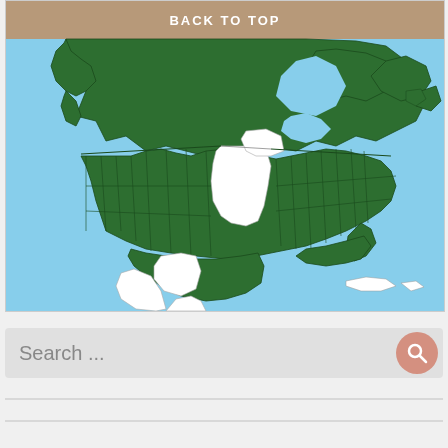[Figure (map): A range map of North America showing distribution in dark green across most of Canada, the United States (except for a white/unshaded region covering North and South Dakota, Nebraska, Kansas, and adjacent plains states), and northern Mexico. The background is light blue (ocean/water). The top of the map shows a brown-toned area (northern Canada/tundra). A 'BACK TO TOP' navigation bar appears at the top of the map image.]
Search ...